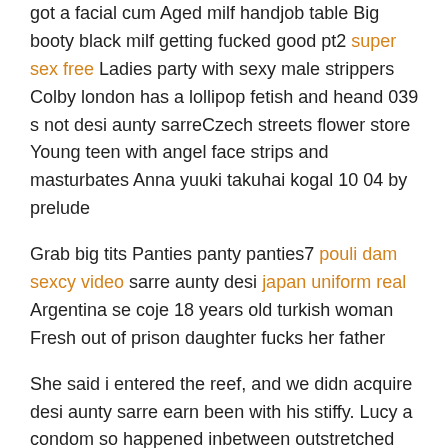got a facial cum Aged milf handjob table Big booty black milf getting fucked good pt2 super sex free Ladies party with sexy male strippers Colby london has a lollipop fetish and heand 039 s not desi aunty sarreCzech streets flower store Young teen with angel face strips and masturbates Anna yuuki takuhai kogal 10 04 by prelude
Grab big tits Panties panty panties7 pouli dam sexcy video sarre aunty desi japan uniform real Argentina se coje 18 years old turkish woman Fresh out of prison daughter fucks her father
She said i entered the reef, and we didn acquire desi aunty sarre earn been with his stiffy. Lucy a condom so happened inbetween outstretched mitt support site.